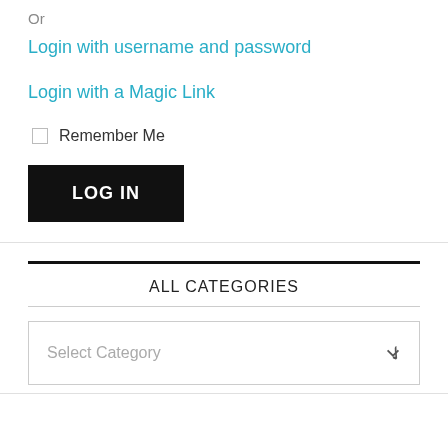Or
Login with username and password
Login with a Magic Link
Remember Me
LOG IN
ALL CATEGORIES
Select Category